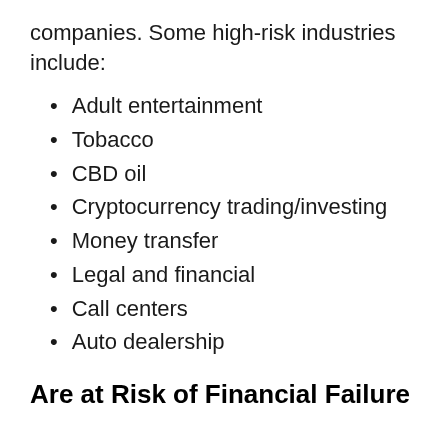companies. Some high-risk industries include:
Adult entertainment
Tobacco
CBD oil
Cryptocurrency trading/investing
Money transfer
Legal and financial
Call centers
Auto dealership
Are at Risk of Financial Failure